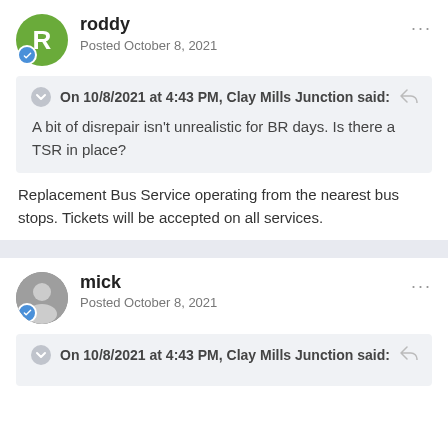roddy
Posted October 8, 2021
On 10/8/2021 at 4:43 PM, Clay Mills Junction said:
A bit of disrepair isn't unrealistic for BR days. Is there a TSR in place?
Replacement Bus Service operating from the nearest bus stops. Tickets will be accepted on all services.
mick
Posted October 8, 2021
On 10/8/2021 at 4:43 PM, Clay Mills Junction said: